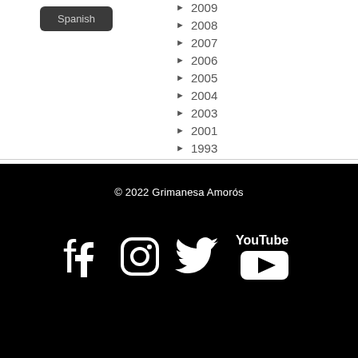Spanish
► 2009
► 2008
► 2007
► 2006
► 2005
► 2004
► 2003
► 2001
► 1993
© 2022 Grimanesa Amorós
[Figure (logo): Social media icons: Facebook, Instagram, Twitter, YouTube]